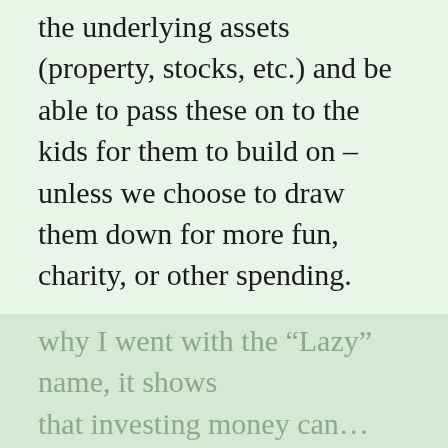the underlying assets (property, stocks, etc.) and be able to pass these on to the kids for them to build on – unless we choose to draw them down for more fun, charity, or other spending.
This “very close to passive income” has grown from $2,354/mo. in January 2017. So in 5+ years, we’ve added more than $4,000 in monthly passive income. That’s nearly $50,000 – a lot more than the $34,000 I made as a software engineer out of college in 1998. This is one of the reasons
why I went with the “Lazy” name, it shows that investing money can...